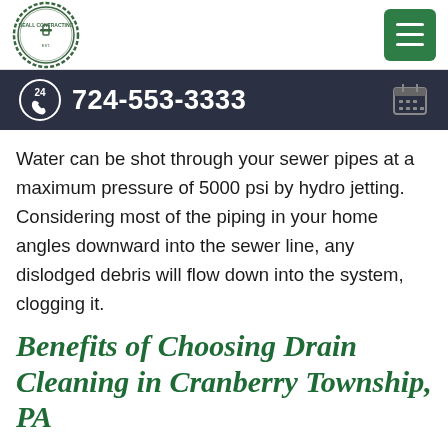Beall Contracting logo and navigation menu
724-553-3333
Water can be shot through your sewer pipes at a maximum pressure of 5000 psi by hydro jetting. Considering most of the piping in your home angles downward into the sewer line, any dislodged debris will flow down into the system, clogging it.
Benefits of Choosing Drain Cleaning in Cranberry Township, PA
Troubleshooting a clogged drain can be tricky enough as it